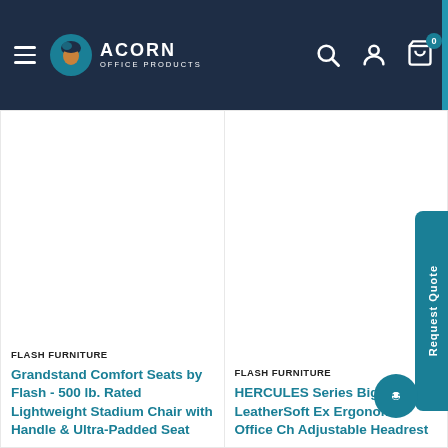[Figure (screenshot): Acorn Office Products website navigation bar with hamburger menu, logo, search icon, account icon, and cart icon with badge showing 0]
[Figure (photo): Product image area for Grandstand Comfort Seats stadium chair (white/blank area)]
FLASH FURNITURE
Grandstand Comfort Seats by Flash - 500 lb. Rated Lightweight Stadium Chair with Handle & Ultra-Padded Seat
[Figure (photo): Product image area for HERCULES Series chair (white/blank area)]
FLASH FURNITURE
HERCULES Series Big Rated LeatherSoft Ex Ergonomic Office Ch Adjustable Headrest